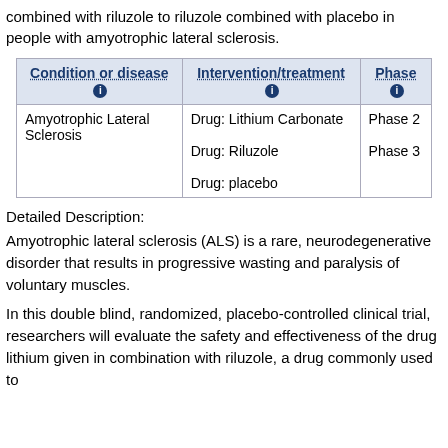combined with riluzole to riluzole combined with placebo in people with amyotrophic lateral sclerosis.
| Condition or disease ℹ | Intervention/treatment ℹ | Phase ℹ |
| --- | --- | --- |
| Amyotrophic Lateral Sclerosis | Drug: Lithium Carbonate

Drug: Riluzole

Drug: placebo | Phase 2
Phase 3 |
Detailed Description:
Amyotrophic lateral sclerosis (ALS) is a rare, neurodegenerative disorder that results in progressive wasting and paralysis of voluntary muscles.
In this double blind, randomized, placebo-controlled clinical trial, researchers will evaluate the safety and effectiveness of the drug lithium given in combination with riluzole, a drug commonly used to